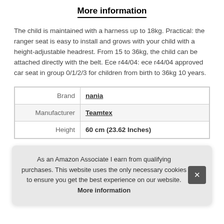More information
The child is maintained with a harness up to 18kg. Practical: the ranger seat is easy to install and grows with your child with a height-adjustable headrest. From 15 to 36kg, the child can be attached directly with the belt. Ece r44/04: ece r44/04 approved car seat in group 0/1/2/3 for children from birth to 36kg 10 years.
|  |  |
| --- | --- |
| Brand | nania |
| Manufacturer | Teamtex |
| Height | 60 cm (23.62 Inches) |
As an Amazon Associate I earn from qualifying purchases. This website uses the only necessary cookies to ensure you get the best experience on our website. More information